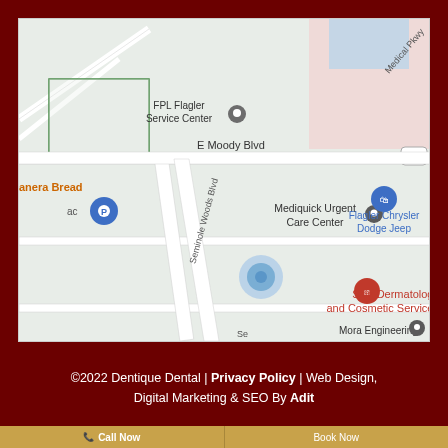[Figure (map): Google Maps screenshot showing area around E Moody Blvd and Seminole Woods Blvd, Flagler area. Landmarks include FPL Flagler Service Center, Panera Bread, Mediquick Urgent Care Center, Flagler Chrysler Dodge Jeep, Skin Dermatology and Cosmetic Services, Mora Engineering. Road 100 visible. A blue circle marker indicates a location near the center.]
©2022 Dentique Dental | Privacy Policy | Web Design, Digital Marketing & SEO By Adit
Call Now
Book Now